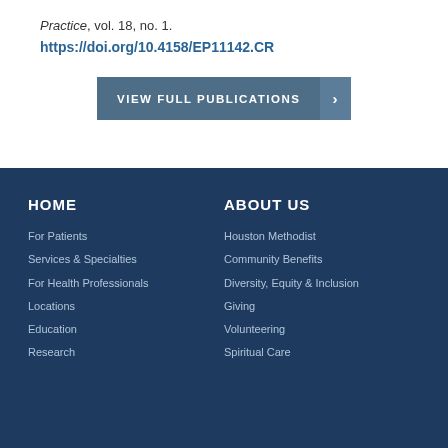Practice, vol. 18, no. 1.
https://doi.org/10.4158/EP11142.CR
VIEW FULL PUBLICATIONS ›
HOME
For Patients
Services & Specialties
For Health Professionals
Locations
Education
Research
ABOUT US
Houston Methodist
Community Benefits
Diversity, Equity & Inclusion
Giving
Volunteering
Spiritual Care